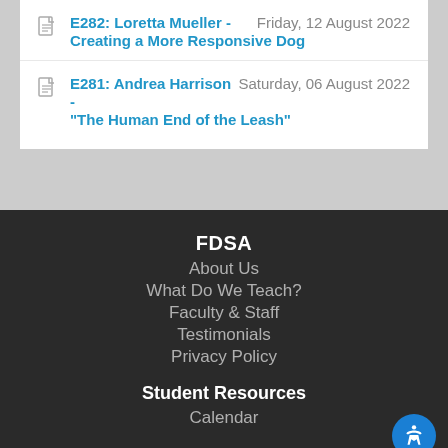E282: Loretta Mueller - Creating a More Responsive Dog | Friday, 12 August 2022
E281: Andrea Harrison - "The Human End of the Leash" | Saturday, 06 August 2022
FDSA
About Us
What Do We Teach?
Faculty & Staff
Testimonials
Privacy Policy
Student Resources
Calendar